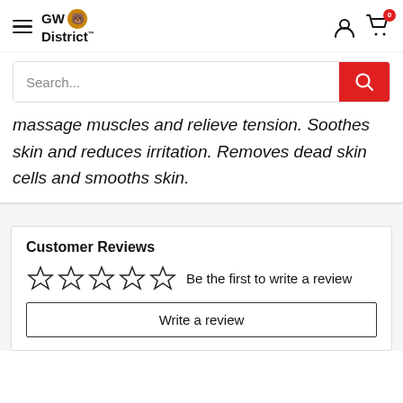GW District — navigation header with hamburger menu, logo, user icon, and cart (0)
Search...
massage muscles and relieve tension. Soothes skin and reduces irritation. Removes dead skin cells and smooths skin.
Customer Reviews
Be the first to write a review
Write a review